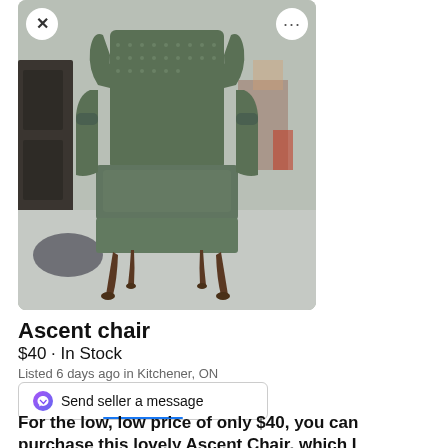[Figure (photo): Green patterned wingback accent chair photographed on a grey carpet, front-facing view showing ornate carved wooden legs]
Ascent chair
$40 · In Stock
Listed 6 days ago in Kitchener, ON
Send seller a message
For the low, low price of only $40, you can purchase this lovely Ascent Chair, which I